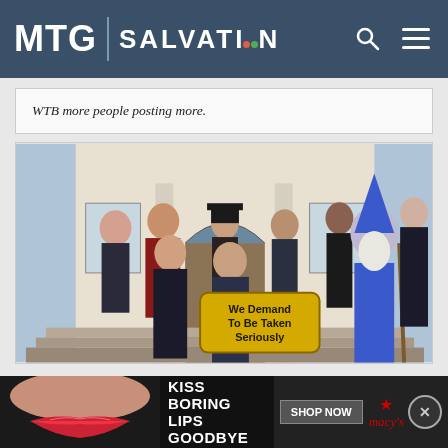MTG SALVATION
WTB more people posting more.
[Figure (photo): Group of people in various costumes (robes, wizard costume, vampire attire, etc.) standing on steps in front of a building, holding a yellow sign that reads 'We Demand To Be Taken Seriously']
[Figure (photo): Advertisement banner: 'KISS BORING LIPS GOODBYE' with model's lips, SHOP NOW button, and Macy's logo with star]